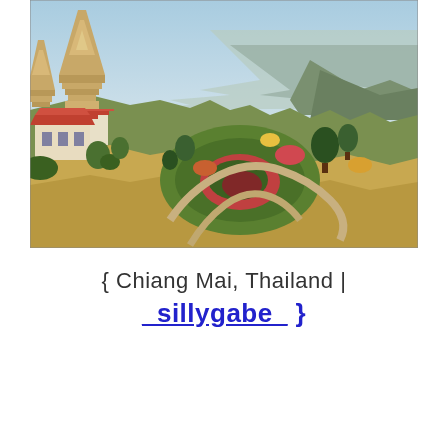[Figure (photo): Aerial/elevated panoramic view of Doi Inthanon or similar Chiang Mai mountain park in Thailand, showing ornate Thai pagodas/stupas on the left, landscaped gardens with spiral flower beds and topiary, winding paths, and mountain ranges in the background under a bright sky.]
{ Chiang Mai, Thailand | _sillygabe_ }